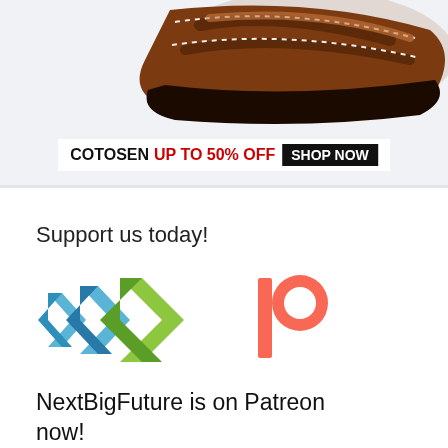[Figure (photo): Brown leather sandal shoe partially visible at top of advertisement banner for Cotosen, with white stitching detail visible]
[Figure (infographic): Cotosen advertisement banner with text: COTOSEN UP TO 50% OFF SHOP NOW]
Support us today!
[Figure (logo): NextBigFuture logo: blue and green geometric chevron arrows pointing right (NBF logo) alongside the orange Patreon 'P' logo]
NextBigFuture is on Patreon now!